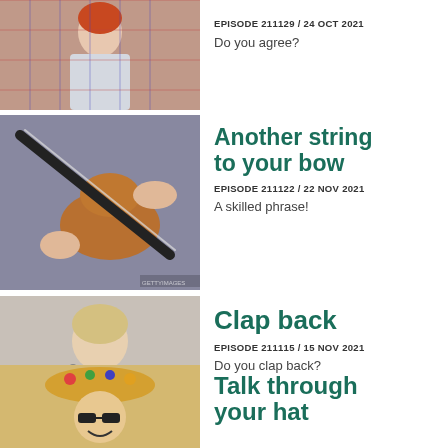[Figure (photo): Young person with red hair making finger gun gestures, wearing a white top with hearts]
EPISODE 211129 / 24 OCT 2021
Do you agree?
[Figure (photo): Close-up of hands playing a violin, bow on strings]
Another string to your bow
EPISODE 211122 / 22 NOV 2021
A skilled phrase!
[Figure (photo): Woman with short blonde hair making a thumbs up gesture, wearing black turtleneck]
Clap back
EPISODE 211115 / 15 NOV 2021
Do you clap back?
[Figure (photo): Person wearing a colorful festival hat with flowers and sunglasses, laughing]
Talk through your hat